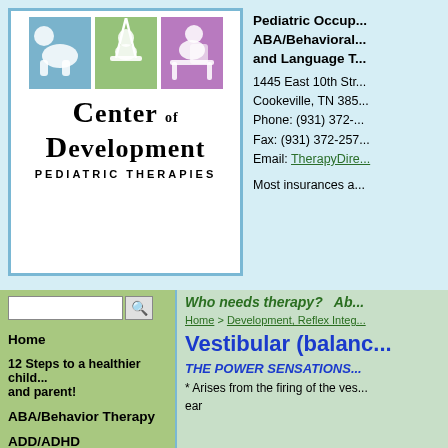[Figure (logo): Center of Development Pediatric Therapies logo with three colored icons (blue, green, purple) showing children silhouettes]
Pediatric Occup... ABA/Behavioral... and Language T... 1445 East 10th Str... Cookeville, TN 385... Phone: (931) 372-... Fax: (931) 372-257... Email: TherapyDire... Most insurances a...
Who needs therapy?   Ab...
Home > Development, Reflex Integ...
Vestibular (balanc...
THE POWER SENSATIONS...
* Arises from the firing of the ves... ear
Home
12 Steps to a healthier child... and parent!
ABA/Behavior Therapy
ADD/ADHD